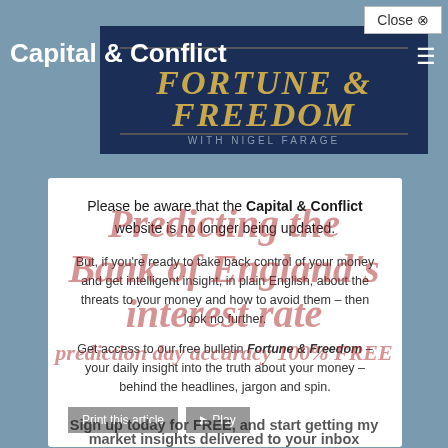Capital & Conflict
[Figure (logo): Fortune & Freedom with Nigel Farage banner logo on dark navy background]
Please be aware that the Capital & Conflict website is no longer being updated.
But, if you're ready to take back control of your money and get intelligent insight, in plain English, about the threats to your money and how to avoid them – then look no further.
Get access to our free bulletin Fortune & Freedom – your daily insight into the truth about your money – behind the headlines, jargon and spin.
Sign up today for FREE, and start getting my market insights delivered to your inbox
Predicting the Bank of England's interest rate
prediction day accuracy 100% FREE
With the swish of his pen, Bank of England governor Mark Carney can make your mortgage
Print this article  ▶ Play